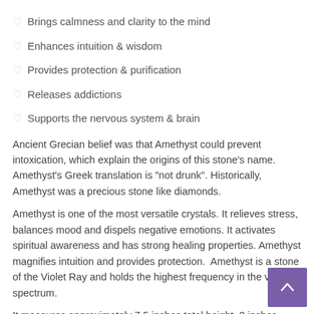♡ Brings calmness and clarity to the mind
♡ Enhances intuition & wisdom
♡ Provides protection & purification
♡ Releases addictions
♡ Supports the nervous system & brain
Ancient Grecian belief was that Amethyst could prevent intoxication, which explain the origins of this stone's name. Amethyst's Greek translation is "not drunk". Historically, Amethyst was a precious stone like diamonds.
Amethyst is one of the most versatile crystals. It relieves stress, balances mood and dispels negative emotions. It activates spiritual awareness and has strong healing properties. Amethyst magnifies intuition and provides protection.  Amethyst is a stone of the Violet Ray and holds the highest frequency in the visible spectrum.
It measures approximately 7.5 inches total height, 3 inches width and weighs 1.35 kilograms.  You will receive the exact crystal pictur...
Please note:  As it is a natural stone, no two will be alike. Natur... have varying shades, line patterns and inclusions. Natural stones may have chips, cracks or other imperfections.  We cannot guarantee perfect points or stones.